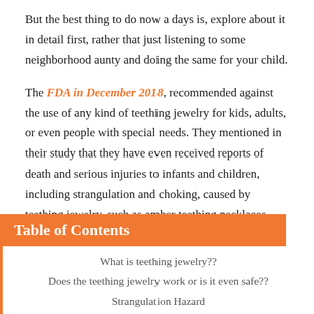But the best thing to do now a days is, explore about it in detail first, rather that just listening to some neighborhood aunty and doing the same for your child.
The FDA in December 2018, recommended against the use of any kind of teething jewelry for kids, adults, or even people with special needs. They mentioned in their study that they have even received reports of death and serious injuries to infants and children, including strangulation and choking, caused by teething jewelry, such as amber teething necklaces.
Table of Contents
What is teething jewelry??
Does the teething jewelry work or is it even safe??
Strangulation Hazard